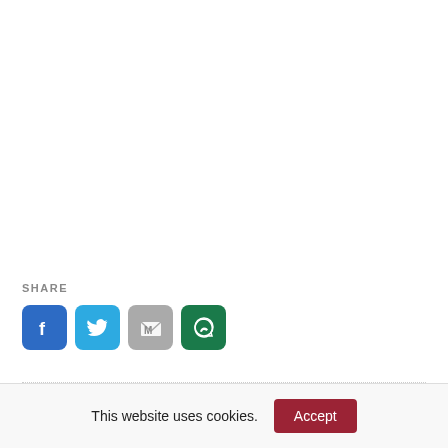SHARE
[Figure (infographic): Four social share icon buttons: Facebook (blue), Twitter (light blue), Gmail (grey), WhatsApp (dark green)]
TAGS:
This website uses cookies.
Accept